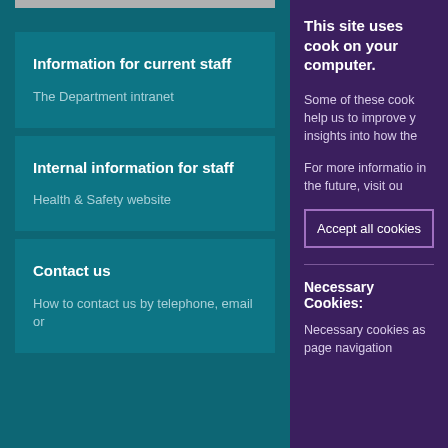Information for current staff
The Department intranet
Internal information for staff
Health & Safety website
Contact us
How to contact us by telephone, email or
This site uses cook on your computer.
Some of these cook help us to improve y insights into how the
For more informatio in the future, visit ou
Accept all cookies
Necessary Cookies:
Necessary cookies as page navigation